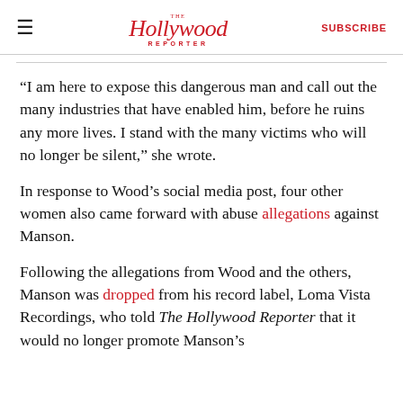The Hollywood Reporter  SUBSCRIBE
“I am here to expose this dangerous man and call out the many industries that have enabled him, before he ruins any more lives. I stand with the many victims who will no longer be silent,” she wrote.
In response to Wood’s social media post, four other women also came forward with abuse allegations against Manson.
Following the allegations from Wood and the others, Manson was dropped from his record label, Loma Vista Recordings, who told The Hollywood Reporter that it would no longer promote Manson’s